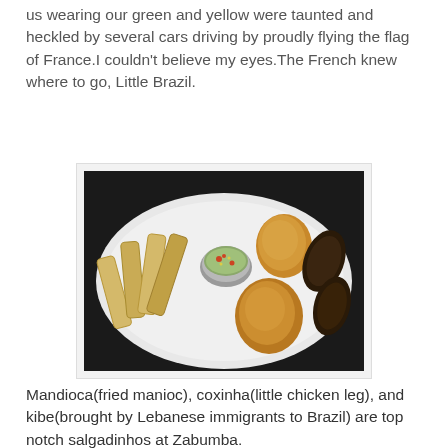us wearing our green and yellow were taunted and heckled by several cars driving by proudly flying the flag of France.I couldn't believe my eyes.The French knew where to go, Little Brazil.
[Figure (photo): A white plate with Brazilian appetizers: mandioca (fried manioc sticks) on the left, two coxinha (fried chicken leg-shaped snacks) in the center and bottom, a small metal bowl of salsa/vinaigrette in the middle, and dark kibe (fried Lebanese-Brazilian snacks) on the right.]
Mandioca(fried manioc), coxinha(little chicken leg), and kibe(brought by Lebanese immigrants to Brazil) are top notch salgadinhos at Zabumba.
[Figure (photo): Partial view of another photo at the bottom of the page, appears dark with some items visible.]